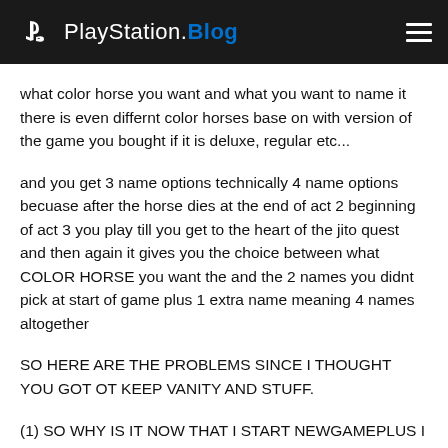PlayStation.Blog
what color horse you want and what you want to name it there is even differnt color horses base on with version of the game you bought if it is deluxe, regular etc...
and you get 3 name options technically 4 name options becuase after the horse dies at the end of act 2 beginning of act 3 you play till you get to the heart of the jito quest and then again it gives you the choice between what COLOR HORSE you want the and the 2 names you didnt pick at start of game plus 1 extra name meaning 4 names altogether
SO HERE ARE THE PROBLEMS SINCE I THOUGHT YOU GOT OT KEEP VANITY AND STUFF.
(1) SO WHY IS IT NOW THAT I START NEWGAMEPLUS I ONLY GET 2 NAMES FOR THE HORSE
(2) AND I AM STUCK WITH A DEFAULT BLACK HORSE